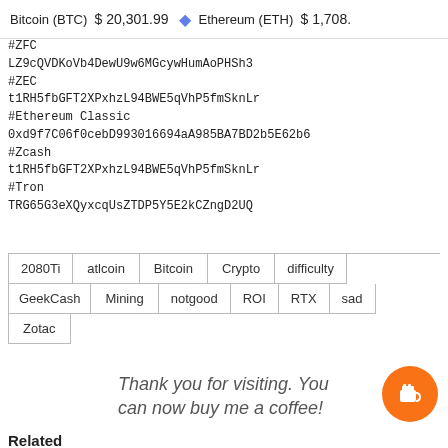Bitcoin (BTC) $20,301.99   Ethereum (ETH) $1,708...
#ZEC
LZ9cQVDKoVb4DewU9w6MGcywHumAoPHSh3
#ZEC
t1RH5fbGFT2XPxhzL94BWE5qVhP5fmSknLr
#Ethereum Classic
0xd9f7C06f0cebD993016694aA985BA7BD2b5E62b6
#Zcash
t1RH5fbGFT2XPxhzL94BWE5qVhP5fmSknLr
#Tron
TRG65G3eXQyxcqUsZTDP5Y5E2kCZngD2UQ
2080Ti
atlcoin
Bitcoin
Crypto
difficulty
GeekCash
Mining
notgood
ROI
RTX
sad
Zotac
Thank you for visiting. You can now buy me a coffee!
Related